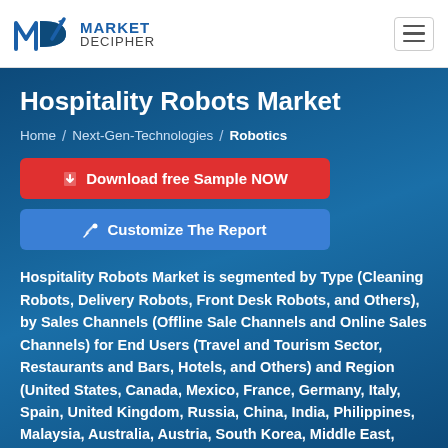Market Decipher logo and navigation
Hospitality Robots Market
Home / Next-Gen-Technologies / Robotics
Download free Sample NOW
Customize The Report
Hospitality Robots Market is segmented by Type (Cleaning Robots, Delivery Robots, Front Desk Robots, and Others), by Sales Channels (Offline Sale Channels and Online Sales Channels) for End Users (Travel and Tourism Sector, Restaurants and Bars, Hotels, and Others) and Region (United States, Canada, Mexico, France, Germany, Italy, Spain, United Kingdom, Russia, China, India, Philippines, Malaysia, Australia, Austria, South Korea, Middle East, Japan, Africa, Rest of World)